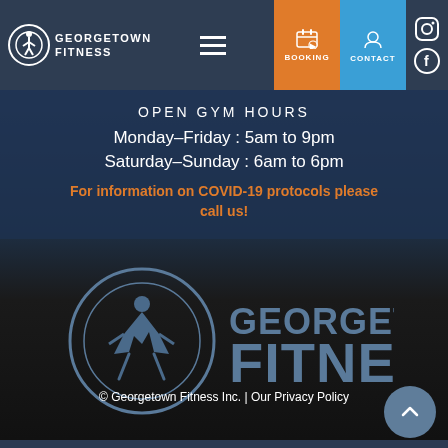[Figure (logo): Georgetown Fitness logo with icon in circular badge and text GEORGETOWN FITNESS, shown in navigation bar]
[Figure (illustration): Navigation bar with hamburger menu, BOOKING button (orange), CONTACT button (blue), Instagram and Facebook social icons]
OPEN GYM HOURS
Monday–Friday : 5am to 9pm
Saturday–Sunday : 6am to 6pm
For information on COVID-19 protocols please call us!
[Figure (logo): Large Georgetown Fitness logo centered, showing circular badge with athlete silhouette and large GEORGETOWN FITNESS text in steel blue]
© Georgetown Fitness Inc. | Our Privacy Policy